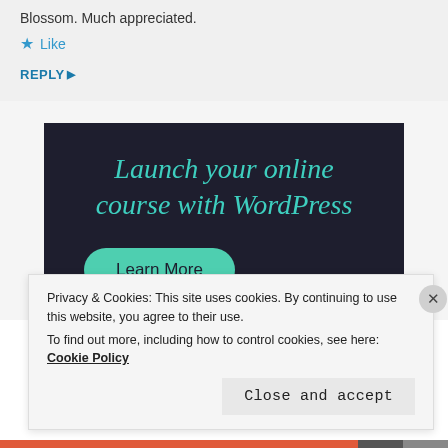Blossom. Much appreciated.
★ Like
REPLY ▶
[Figure (infographic): Dark-background advertisement banner: 'Launch your online course with WordPress' with a 'Learn More' teal button]
Privacy & Cookies: This site uses cookies. By continuing to use this website, you agree to their use.
To find out more, including how to control cookies, see here: Cookie Policy
Close and accept